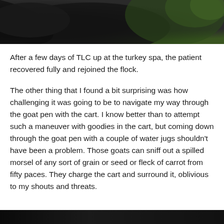[Figure (photo): Close-up photo of what appears to be a dark-colored animal (likely a turkey) with some green foliage visible in the upper right corner. The image is cropped, showing mostly dark feathers or fur against a dark background.]
After a few days of TLC up at the turkey spa, the patient recovered fully and rejoined the flock.
The other thing that I found a bit surprising was how challenging it was going to be to navigate my way through the goat pen with the cart. I know better than to attempt such a maneuver with goodies in the cart, but coming down through the goat pen with a couple of water jugs shouldn't have been a problem. Those goats can sniff out a spilled morsel of any sort of grain or seed or fleck of carrot from fifty paces. They charge the cart and surround it, oblivious to my shouts and threats.
[Figure (photo): Partial view of a dark outdoor photo, appearing at the very bottom of the page, likely showing an animal or farm scene at night or in low light.]